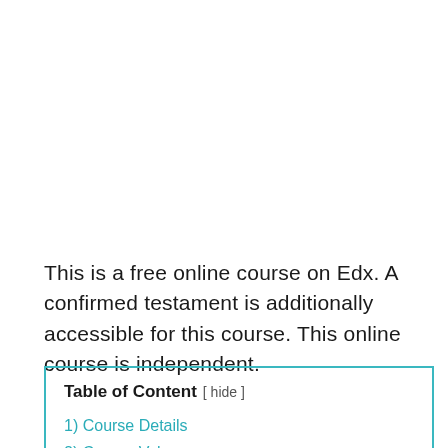This is a free online course on Edx. A confirmed testament is additionally accessible for this course. This online course is independent.
Table of Content [ hide ]
1) Course Details
2) Course Value